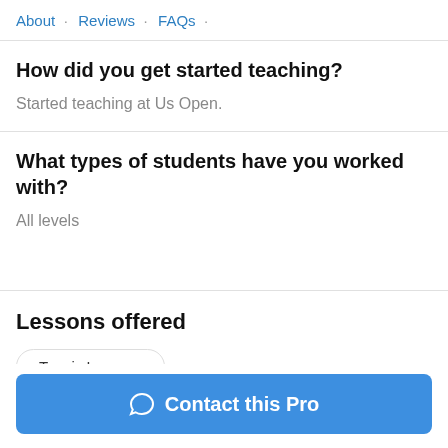About · Reviews · FAQs ·
How did you get started teaching?
Started teaching at Us Open.
What types of students have you worked with?
All levels
Lessons offered
Tennis Lessons
Contact this Pro